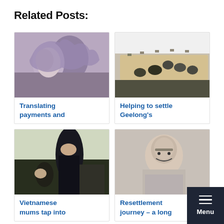Related Posts:
[Figure (photo): Two women wearing headscarves in profile view]
Translating payments and
[Figure (photo): People sitting around a conference table in a meeting room]
Helping to settle Geelong's
[Figure (photo): Woman helping children with tablets or books in a classroom setting]
Vietnamese mums tap into
[Figure (photo): Smiling man with glasses in a light blue shirt]
Resettlement journey – a long